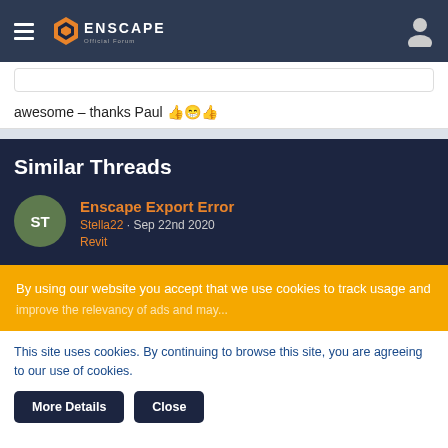Enscape Official Forum
awesome - thanks Paul 👍😁👍
Similar Threads
Enscape Export Error
Stella22 · Sep 22nd 2020
Revit
By using our website you accept that we use cookies to track usage and improve the relevancy of ads and may...
This site uses cookies. By continuing to browse this site, you are agreeing to our use of cookies.